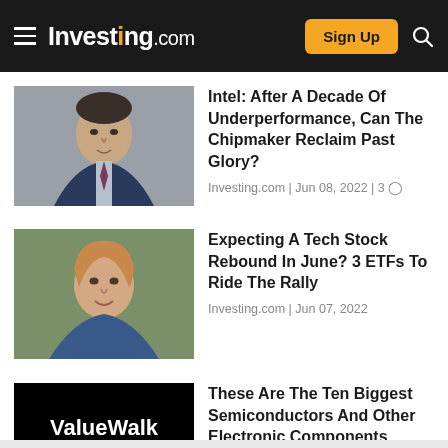Investing.com  Sign Up
[Figure (photo): Headshot of male author for Intel article]
Intel: After A Decade Of Underperformance, Can The Chipmaker Reclaim Past Glory?
Investing.com | Jun 08, 2022 | 3
[Figure (photo): Headshot of female author for ETF article]
Expecting A Tech Stock Rebound In June? 3 ETFs To Ride The Rally
Investing.com | Jun 07, 2022
[Figure (logo): ValueWalk logo on black background]
These Are The Ten Biggest Semiconductors And Other Electronic Components Companies
ValueWalk | Jun 01, 2022
[Figure (photo): Headshot of male author for NVIDIA article]
NVIDIA Earnings Preview: Where Next For NVDA Stock?
Forex.com | May 22, 2022